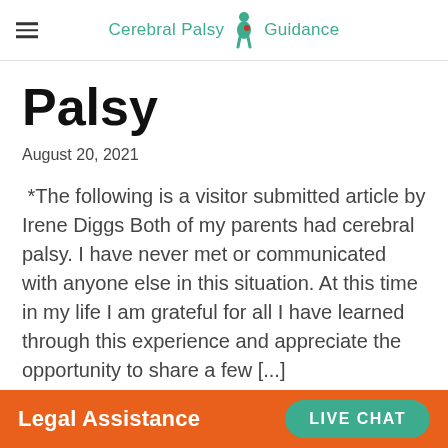Cerebral Palsy Guidance
Palsy
August 20, 2021
*The following is a visitor submitted article by Irene Diggs Both of my parents had cerebral palsy. I have never met or communicated with anyone else in this situation. At this time in my life I am grateful for all I have learned through this experience and appreciate the opportunity to share a few [...]
Legal Assistance   LIVE CHAT